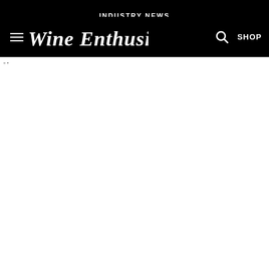INDUSTRY NEWS
[Figure (logo): Wine Enthusiast logo in white text on black background, with hamburger menu icon on left and search icon and SHOP text on right]
" "